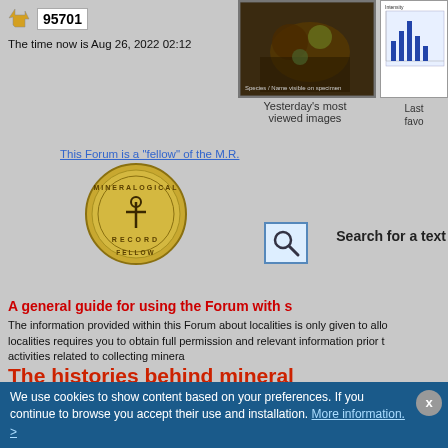95701
The time now is Aug 26, 2022 02:12
[Figure (photo): Mineral specimen photo thumbnail]
[Figure (other): Chart/graph panel on right side]
Yesterday's most viewed images
Last favo
This Forum is a "fellow" of the M.R.
[Figure (illustration): Mineralogical Record Fellow medallion badge]
[Figure (other): Search icon magnifying glass]
Search for a text
A general guide for using the Forum with s
The information provided within this Forum about localities is only given to all localities requires you to obtain full permission and relevant information prior t activities related to collecting minera
The histories behind mineral specimens
Moderators: Jordi Fabre, chris, Antonio Alcaide
Users browsing this forum: None
We use cookies to show content based on your preferences. If you continue to browse you accept their use and installation. More information. >